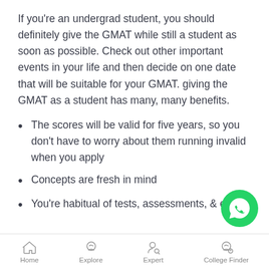If you’re an undergrad student, you should definitely give the GMAT while still a student as soon as possible. Check out other important events in your life and then decide on one date that will be suitable for your GMAT. giving the GMAT as a student has many, many benefits.
The scores will be valid for five years, so you don’t have to worry about them running invalid when you apply
Concepts are fresh in mind
You’re habitual of tests, assessments, exams
[Figure (logo): WhatsApp contact button (green circle with white phone/chat icon)]
Home | Explore | Expert | College Finder